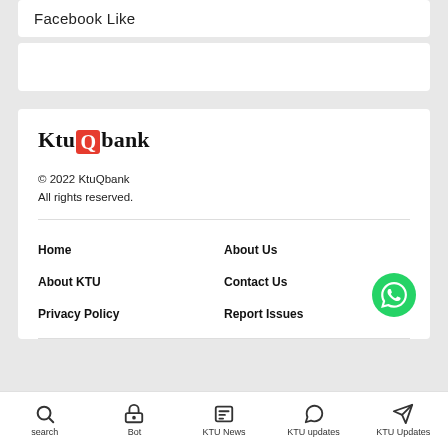Facebook Like
[Figure (logo): KtuQbank logo with red Q square icon]
© 2022 KtuQbank
All rights reserved.
Home
About Us
About KTU
Contact Us
Privacy Policy
Report Issues
search  Bot  KTU News  KTU updates  KTU Updates